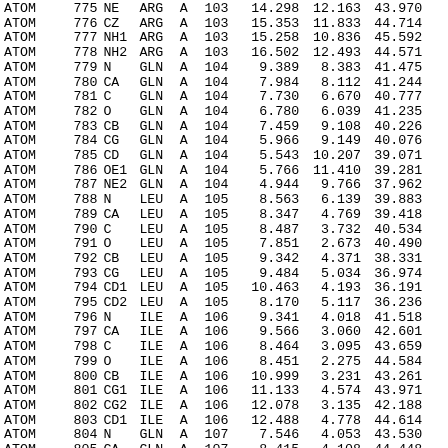| Record | Serial | Name | ResName | Chain | ResSeq | X | Y | Z | ... |
| --- | --- | --- | --- | --- | --- | --- | --- | --- | --- |
| ATOM | 775 | NE | ARG | A | 103 | 14.298 | 12.163 | 43.970 |  |
| ATOM | 776 | CZ | ARG | A | 103 | 15.353 | 11.833 | 44.714 |  |
| ATOM | 777 | NH1 | ARG | A | 103 | 15.258 | 10.836 | 45.592 |  |
| ATOM | 778 | NH2 | ARG | A | 103 | 16.502 | 12.493 | 44.571 |  |
| ATOM | 779 | N | GLN | A | 104 | 9.389 | 8.383 | 41.475 |  |
| ATOM | 780 | CA | GLN | A | 104 | 7.984 | 8.112 | 41.244 |  |
| ATOM | 781 | C | GLN | A | 104 | 7.730 | 6.670 | 40.777 |  |
| ATOM | 782 | O | GLN | A | 104 | 6.780 | 6.039 | 41.235 |  |
| ATOM | 783 | CB | GLN | A | 104 | 7.459 | 9.108 | 40.226 |  |
| ATOM | 784 | CG | GLN | A | 104 | 5.966 | 9.149 | 40.076 |  |
| ATOM | 785 | CD | GLN | A | 104 | 5.543 | 10.207 | 39.071 |  |
| ATOM | 786 | OE1 | GLN | A | 104 | 5.766 | 11.410 | 39.281 |  |
| ATOM | 787 | NE2 | GLN | A | 104 | 4.944 | 9.766 | 37.962 |  |
| ATOM | 788 | N | LEU | A | 105 | 8.563 | 6.139 | 39.883 |  |
| ATOM | 789 | CA | LEU | A | 105 | 8.347 | 4.769 | 39.418 |  |
| ATOM | 790 | C | LEU | A | 105 | 8.487 | 3.732 | 40.534 |  |
| ATOM | 791 | O | LEU | A | 105 | 7.851 | 2.673 | 40.490 |  |
| ATOM | 792 | CB | LEU | A | 105 | 9.342 | 4.371 | 38.331 |  |
| ATOM | 793 | CG | LEU | A | 105 | 9.484 | 5.034 | 36.974 |  |
| ATOM | 794 | CD1 | LEU | A | 105 | 10.463 | 4.193 | 36.191 |  |
| ATOM | 795 | CD2 | LEU | A | 105 | 8.170 | 5.117 | 36.236 |  |
| ATOM | 796 | N | ILE | A | 106 | 9.341 | 4.018 | 41.518 |  |
| ATOM | 797 | CA | ILE | A | 106 | 9.566 | 3.060 | 42.601 |  |
| ATOM | 798 | C | ILE | A | 106 | 8.464 | 3.095 | 43.659 |  |
| ATOM | 799 | O | ILE | A | 106 | 8.451 | 2.275 | 44.584 |  |
| ATOM | 800 | CB | ILE | A | 106 | 10.999 | 3.231 | 43.261 |  |
| ATOM | 801 | CG1 | ILE | A | 106 | 11.133 | 4.574 | 43.971 |  |
| ATOM | 802 | CG2 | ILE | A | 106 | 12.078 | 3.135 | 42.188 |  |
| ATOM | 803 | CD1 | ILE | A | 106 | 12.488 | 4.778 | 44.614 |  |
| ATOM | 804 | N | GLN | A | 107 | 7.546 | 4.053 | 43.530 |  |
| ATOM | 805 | CA | GLN | A | 107 | 8.415 | 4.108 | 44.448 |  |